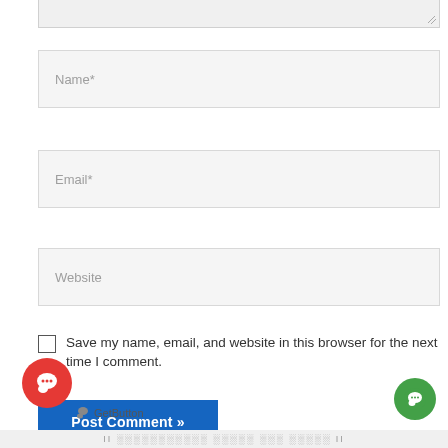[Figure (screenshot): Top portion of a textarea input (stub visible at top of page), partially cut off]
[Figure (screenshot): Form input field with placeholder text 'Name*']
[Figure (screenshot): Form input field with placeholder text 'Email*']
[Figure (screenshot): Form input field with placeholder text 'Website']
Save my name, email, and website in this browser for the next time I comment.
[Figure (screenshot): Blue 'Post Comment »' button]
[Figure (screenshot): Red circular GetButton chat widget icon at bottom left]
GetButton
[Figure (screenshot): Green circular chat widget icon at bottom right]